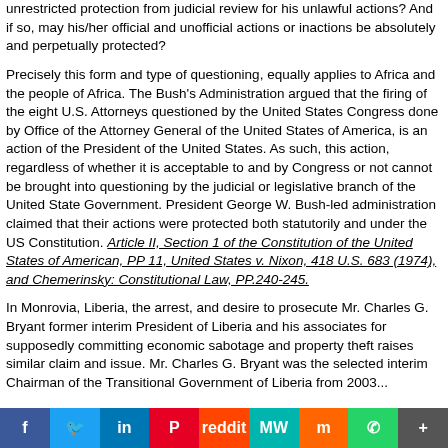unrestricted protection from judicial review for his unlawful actions? And if so, may his/her official and unofficial actions or inactions be absolutely and perpetually protected?
Precisely this form and type of questioning, equally applies to Africa and the people of Africa. The Bush's Administration argued that the firing of the eight U.S. Attorneys questioned by the United States Congress done by Office of the Attorney General of the United States of America, is an action of the President of the United States. As such, this action, regardless of whether it is acceptable to and by Congress or not cannot be brought into questioning by the judicial or legislative branch of the United State Government. President George W. Bush-led administration claimed that their actions were protected both statutorily and under the US Constitution. Article II, Section 1 of the Constitution of the United States of American, PP 11, United States v. Nixon, 418 U.S. 683 (1974), and Chemerinsky: Constitutional Law, PP.240-245.
In Monrovia, Liberia, the arrest, and desire to prosecute Mr. Charles G. Bryant former interim President of Liberia and his associates for supposedly committing economic sabotage and property theft raises similar claim and issue. Mr. Charles G. Bryant was the selected interim Chairman of the Transitional Government of Liberia from 2003...